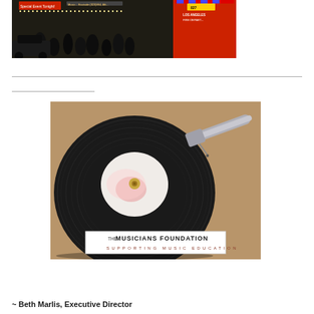[Figure (photo): Dark street scene photograph showing people on a sidewalk with an ambulance or fire department vehicle on the right side, city street at night]
[Figure (photo): Close-up photo of a vinyl record on a turntable with a tonearm/needle visible, overlaid with a logo box reading 'THE MUSICIANS FOUNDATION SUPPORTING MUSIC EDUCATION']
~ Beth Marlis, Executive Director